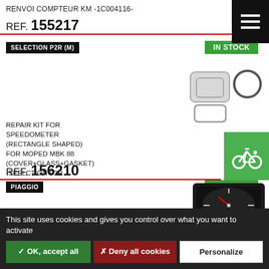RENVOI COMPTEUR KM -1C004116-
REF. 155217
SELECTION P2R (M)
IN STOCK
[Figure (photo): Speedometer parts: rectangular cover and circular gasket/ring, light gray on white background]
REPAIR KIT FOR SPEEDOMETER (RECTANGLE SHAPED) FOR MOPED MBK 88 (COVER+GLASS+GASKET) -SEELCTION P2R
REF. 156210
[Figure (illustration): Green box with white bicycle icon]
PIAGGIO
IN STOCK
[Figure (photo): Black rectangular RPM gauge/speedometer instrument cluster with yellow dial markings]
RPM GAUGE "PIAGGIO GENUINE PART" APRILIA 50 RX 2002>2004, PEGASO 1992>1994 -AP8212743-
This site uses cookies and gives you control over what you want to activate
✓ OK, accept all
✗ Deny all cookies
Personalize